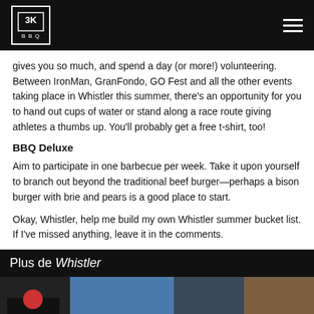BBQ HQ logo and navigation
gives you so much, and spend a day (or more!) volunteering. Between IronMan, GranFondo, GO Fest and all the other events taking place in Whistler this summer, there's an opportunity for you to hand out cups of water or stand along a race route giving athletes a thumbs up. You'll probably get a free t-shirt, too!
BBQ Deluxe
Aim to participate in one barbecue per week. Take it upon yourself to branch out beyond the traditional beef burger—perhaps a bison burger with brie and pears is a good place to start.
Okay, Whistler, help me build my own Whistler summer bucket list. If I've missed anything, leave it in the comments.
Plus de Whistler
[Figure (photo): Photo strip showing outdoor/event scenes in Whistler with bright sun and group photos]